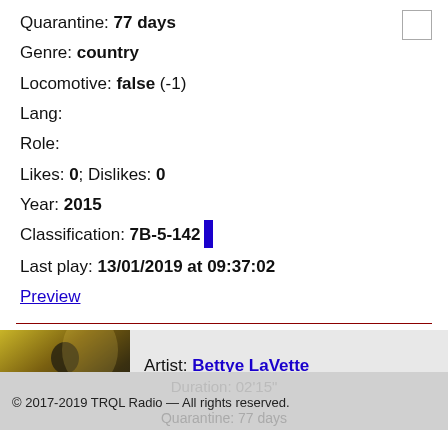Quarantine: 77 days
Genre: country
Locomotive: false (-1)
Lang:
Role:
Likes: 0; Dislikes: 0
Year: 2015
Classification: 7B-5-142
Last play: 13/01/2019 at 09:37:02
Preview
[Figure (photo): Thumbnail photo of artist]
Artist: Bettye LaVette
Title: You'll Wake Up Wiser
Duration: 02'15"
© 2017-2019 TRQL Radio — All rights reserved.
Quarantine: 77 days